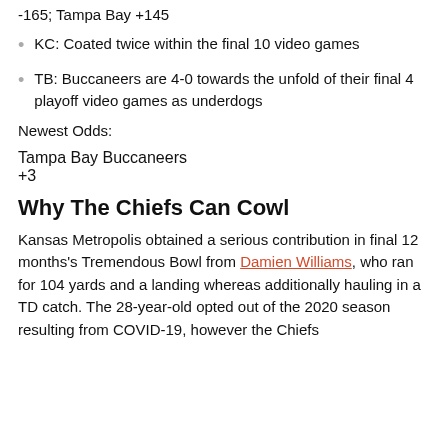-165; Tampa Bay +145
KC: Coated twice within the final 10 video games
TB: Buccaneers are 4-0 towards the unfold of their final 4 playoff video games as underdogs
Newest Odds:
Tampa Bay Buccaneers
+3
Why The Chiefs Can Cowl
Kansas Metropolis obtained a serious contribution in final 12 months's Tremendous Bowl from Damien Williams, who ran for 104 yards and a landing whereas additionally hauling in a TD catch. The 28-year-old opted out of the 2020 season resulting from COVID-19, however the Chiefs